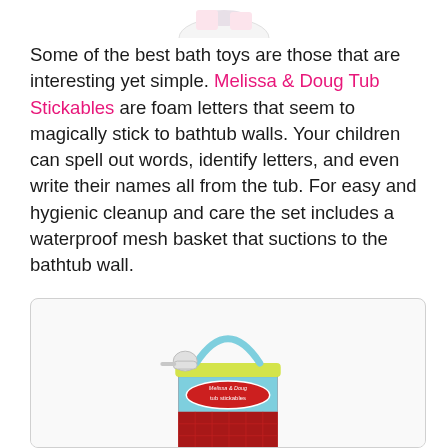[Figure (photo): Partial top of a product image, cropped at top of page]
Some of the best bath toys are those that are interesting yet simple. Melissa & Doug Tub Stickables are foam letters that seem to magically stick to bathtub walls. Your children can spell out words, identify letters, and even write their names all from the tub. For easy and hygienic cleanup and care the set includes a waterproof mesh basket that suctions to the bathtub wall.
[Figure (photo): Melissa & Doug Tub Stickables product photo showing a red cylindrical bucket with a blue handle, labeled 'tub stickables', partially visible at bottom of page]